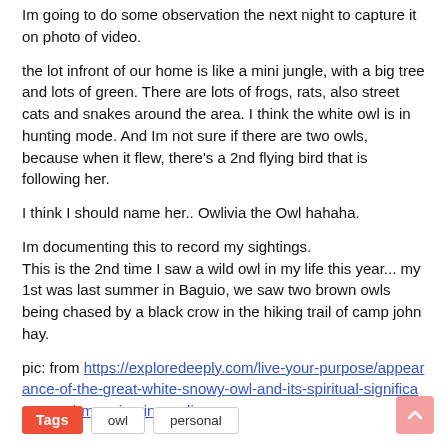Im going to do some observation the next night to capture it on photo of video.
the lot infront of our home is like a mini jungle, with a big tree and lots of green. There are lots of frogs, rats, also street cats and snakes around the area. I think the white owl is in hunting mode. And Im not sure if there are two owls, because when it flew, there's a 2nd flying bird that is following her.
I think I should name her.. Owlivia the Owl hahaha.
Im documenting this to record my sightings.
This is the 2nd time I saw a wild owl in my life this year... my 1st was last summer in Baguio, we saw two brown owls being chased by a black crow in the hiking trail of camp john hay.
pic: from https://exploredeeply.com/live-your-purpose/appearance-of-the-great-white-snowy-owl-and-its-spiritual-significance-and-meaning-in-our-lives
Tags   owl   personal